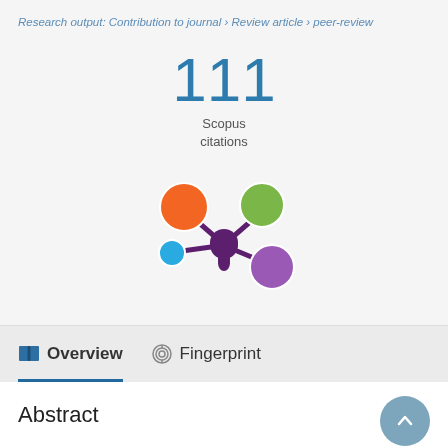Research output: Contribution to journal › Review article › peer-review
111 Scopus citations
[Figure (logo): Altmetric / PlumX style metrics logo with four colored circles (orange, green, blue, purple) arranged around a dark purple central hub with drip shape]
Overview
Fingerprint
Abstract